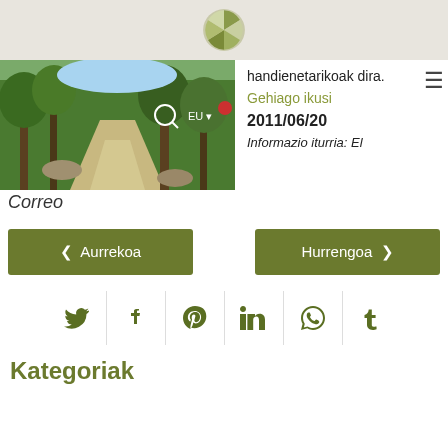[logo]
[Figure (photo): Forest path through pine trees with dappled light]
handienetarikoak dira.
Gehiago ikusi
2011/06/20
Informazio iturria: El Correo
‹ Aurrekoa
Hurrengoa ›
Kategoriak